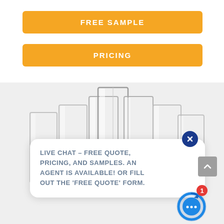FREE SAMPLE
PRICING
[Figure (photo): Multiple clear glass shot glasses arranged in a fan/arc pattern, some with colorful logos printed on them]
LIVE CHAT – FREE QUOTE, PRICING, AND SAMPLES. AN AGENT IS AVAILABLE! OR FILL OUT THE 'FREE QUOTE' FORM.